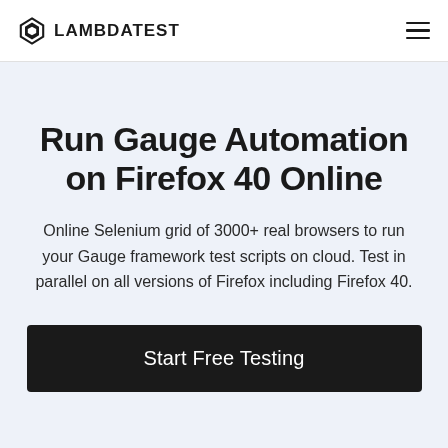LAMBDATEST
Run Gauge Automation on Firefox 40 Online
Online Selenium grid of 3000+ real browsers to run your Gauge framework test scripts on cloud. Test in parallel on all versions of Firefox including Firefox 40.
Start Free Testing